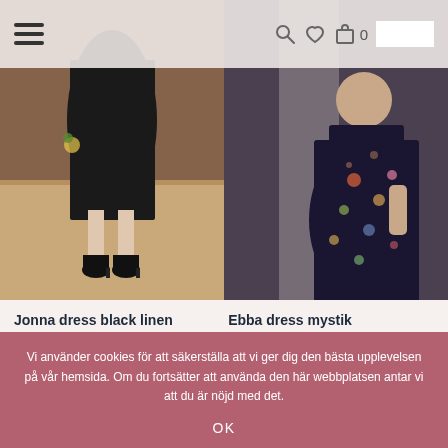[Figure (screenshot): Header navigation bar with hamburger menu icon on left and search, heart, bag icons with cart count 0 and search input on right]
[Figure (photo): Left product photo: woman wearing black linen dress with boots on wooden floor in brick warehouse setting]
[Figure (photo): Right product photo: woman wearing dark floral Ebba dress mystik standing near concrete column]
Jonna dress black linen
2,300 SEK
Jonna dress in black linen is
Ebba dress mystik
2,900 SEK
Ebba dress is beautifully cut
Vi använder cookies för att säkerställa att vi ger dig den bästa upplevelsen på vår hemsida. Om du fortsätter att använda den här webbplatsen antar vi att du är nöjd med det.
OK